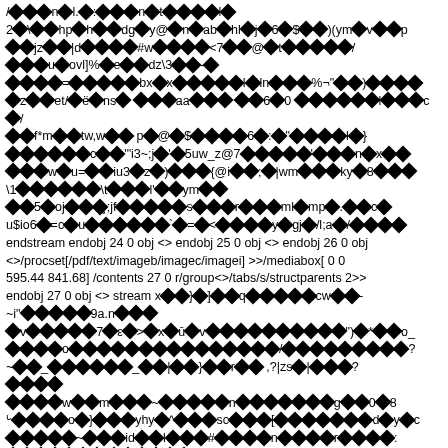Corrupted/encoded binary stream content mixed with partial readable text including: endstream endobj 24 0 obj <> endobj 25 0 obj <> endobj 26 0 obj <>/procset[/pdf/text/imageb/imagec/imagei] >>/mediabox[ 0 0 595.44 841.68] /contents 27 0 r/group<>/tabs/s/structparents 2>> endobj 27 0 obj <> stream x[encoded]cw- ~i"[encoded]9a.n[encoded] and further binary/encoded content